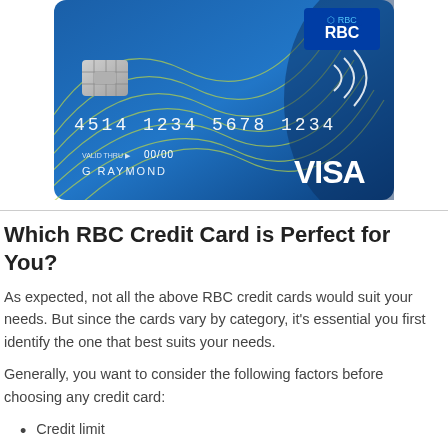[Figure (illustration): RBC Visa credit card showing card number 4514 1234 5678 1234, expiry 00/00, cardholder name G RAYMOND, with RBC logo, chip, contactless symbol, and VISA logo on a blue gradient background with decorative lines]
Which RBC Credit Card is Perfect for You?
As expected, not all the above RBC credit cards would suit your needs. But since the cards vary by category, it's essential you first identify the one that best suits your needs.
Generally, you want to consider the following factors before choosing any credit card:
Credit limit